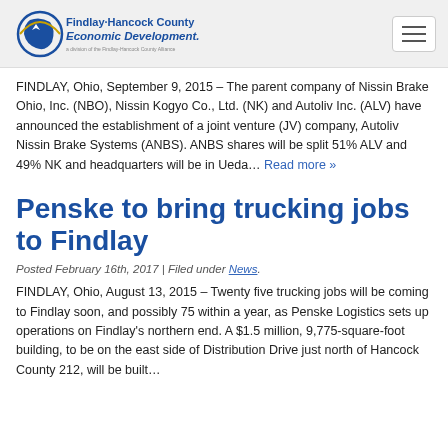Findlay-Hancock County Economic Development
FINDLAY, Ohio, September 9, 2015 – The parent company of Nissin Brake Ohio, Inc. (NBO), Nissin Kogyo Co., Ltd. (NK) and Autoliv Inc. (ALV) have announced the establishment of a joint venture (JV) company, Autoliv Nissin Brake Systems (ANBS). ANBS shares will be split 51% ALV and 49% NK and headquarters will be in Ueda… Read more »
Penske to bring trucking jobs to Findlay
Posted February 16th, 2017 | Filed under News.
FINDLAY, Ohio, August 13, 2015 – Twenty five trucking jobs will be coming to Findlay soon, and possibly 75 within a year, as Penske Logistics sets up operations on Findlay's northern end. A $1.5 million, 9,775-square-foot building, to be on the east side of Distribution Drive just north of Hancock County 212, will be built…